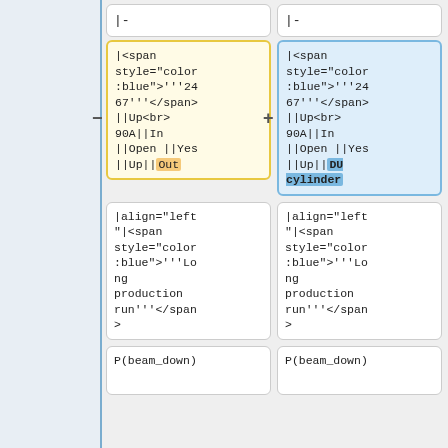| |- | |- |
| |<span style="color:blue">'''2467'''</span>||Up<br>90A||In||Open ||Yes||Up||Out | |<span style="color:blue">'''2467'''</span>||Up<br>90A||In||Open ||Yes||Up||DU cylinder |
| |align="left"|<span style="color:blue">'''Long production run'''</span> | |align="left"|<span style="color:blue">'''Long production run'''</span> |
| P(beam_down) | P(beam_down) |